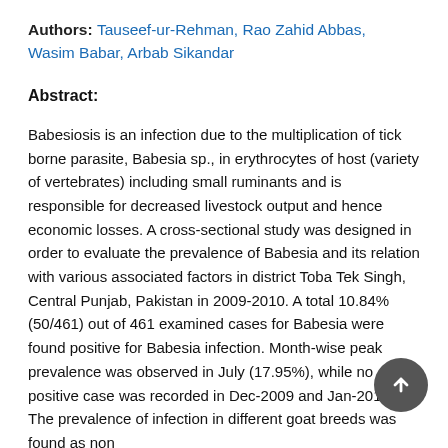Authors: Tauseef-ur-Rehman, Rao Zahid Abbas, Wasim Babar, Arbab Sikandar
Abstract:
Babesiosis is an infection due to the multiplication of tick borne parasite, Babesia sp., in erythrocytes of host (variety of vertebrates) including small ruminants and is responsible for decreased livestock output and hence economic losses. A cross-sectional study was designed in order to evaluate the prevalence of Babesia and its relation with various associated factors in district Toba Tek Singh, Central Punjab, Pakistan in 2009-2010. A total 10.84% (50/461) out of 461 examined cases for Babesia were found positive for Babesia infection. Month-wise peak prevalence was observed in July (17.95%), while no positive case was recorded in Dec-2009 and Jan-2010. The prevalence of infection in different goat breeds was found as non